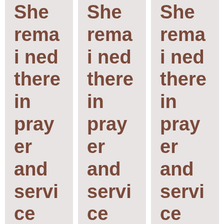She remained there in prayer and service until she was betrothed to Joseph. Today we pray for the
She remained there in prayer and service until she was betrothed to Joseph. Today we pray for the
She remained there in prayer and service until she was betrothed to Joseph. Today we pray for the